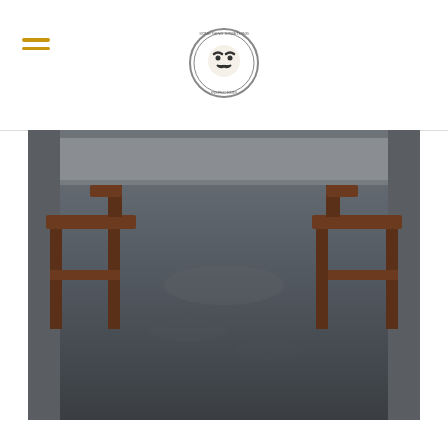[Logo: circular badge with mustached face illustration]
[Figure (photo): A wide concrete floor area viewed in perspective, with two dark brown wooden benches/chairs flanking the left and right sides. The floor is a dark grey textured surface. Background shows a structure above.]
But, as is apparently common with inspectors, we never saw any of those people ever again, so we'll never know